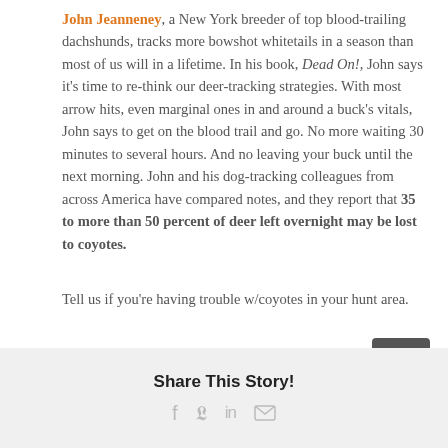John Jeanneney, a New York breeder of top blood-trailing dachshunds, tracks more bowshot whitetails in a season than most of us will in a lifetime. In his book, Dead On!, John says it's time to re-think our deer-tracking strategies. With most arrow hits, even marginal ones in and around a buck's vitals, John says to get on the blood trail and go. No more waiting 30 minutes to several hours. And no leaving your buck until the next morning. John and his dog-tracking colleagues from across America have compared notes, and they report that 35 to more than 50 percent of deer left overnight may be lost to coyotes.
Tell us if you're having trouble w/coyotes in your hunt area.
Share This Story!